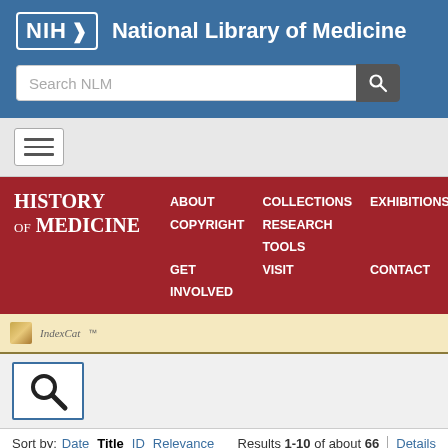[Figure (screenshot): NIH National Library of Medicine website header with blue background, NIH logo, and search bar]
[Figure (screenshot): Navigation hamburger menu button on gray background]
[Figure (screenshot): History of Medicine red navigation bar with links: ABOUT, COLLECTIONS, EXHIBITIONS, COPYRIGHT, RESEARCH TOOLS, GET INVOLVED, VISIT, CONTACT]
[Figure (screenshot): IndexCat logo bar with golden icon and search magnifying glass icon]
Sort by: Date Title ID Relevance | Results 1-10 of about 66 | Details
Index-Catalogue | eTKeVK2 | LocatorPlus | PubMed | PubMed Central
Refinements: Index-Catalogue, Library of the Surgeon-General's Office 1880-1961: Series 4, 1936- > Volume 011 x > Page 242 x Index-Catalogue: Type of Resource: Analytic x Language: English x